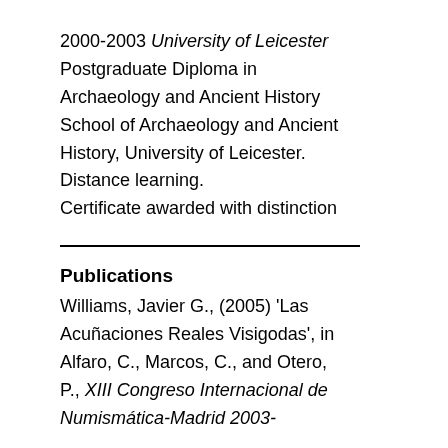2000-2003 University of Leicester Postgraduate Diploma in Archaeology and Ancient History School of Archaeology and Ancient History, University of Leicester. Distance learning. Certificate awarded with distinction
Publications
Williams, Javier G., (2005) 'Las Acuñaciones Reales Visigodas', in Alfaro, C., Marcos, C., and Otero, P., XIII Congreso Internacional de Numismática-Madrid 2003-